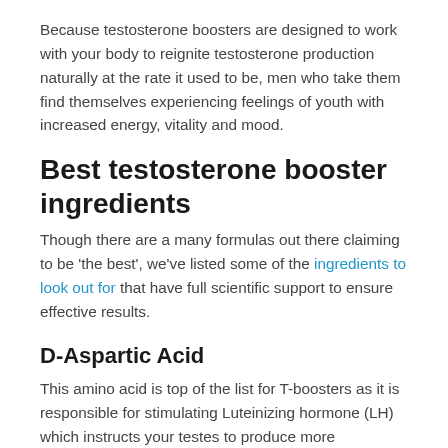Because testosterone boosters are designed to work with your body to reignite testosterone production naturally at the rate it used to be, men who take them find themselves experiencing feelings of youth with increased energy, vitality and mood.
Best testosterone booster ingredients
Though there are a many formulas out there claiming to be 'the best', we've listed some of the ingredients to look out for that have full scientific support to ensure effective results.
D-Aspartic Acid
This amino acid is top of the list for T-boosters as it is responsible for stimulating Luteinizing hormone (LH) which instructs your testes to produce more testosterone [Source 5]. By boosting your levels of d-aspartic acid, you will be able to keep up regular T